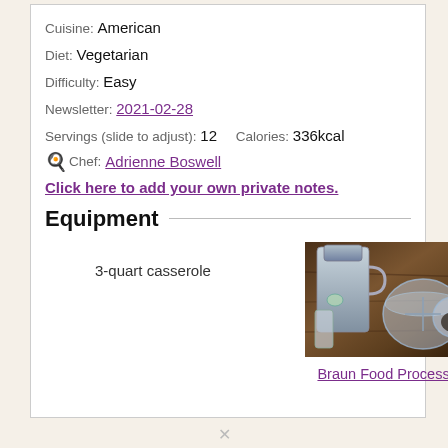Cuisine: American
Diet: Vegetarian
Difficulty: Easy
Newsletter: 2021-02-28
Servings (slide to adjust): 12   Calories: 336kcal
Chef: Adrienne Boswell
Click here to add your own private notes.
Equipment
3-quart casserole
[Figure (photo): Photo of a Braun Food Processor with various bowl attachments and accessories on a wooden surface]
Braun Food Processor